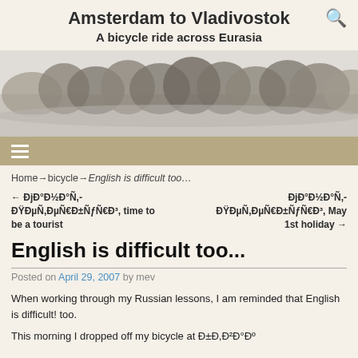Amsterdam to Vladivostok
A bicycle ride across Eurasia
[Figure (photo): A wintry landscape with snow-covered trees in fog or mist, monochrome tones]
Home → bicycle → English is difficult too…
← ÐjĐ°Đ½Đ°Ñ,- ĐŸĐµÑ,ĐµÑ€Đ±Ñ/Ñ€Đ³, time to be a tourist
ÐjĐ°Đ½Đ°Ñ,- ĐŸĐµÑ,ĐµÑ€Đ±Ñ/Ñ€Đ³, May 1st holiday →
English is difficult too...
Posted on April 29, 2007 by mev
When working through my Russian lessons, I am reminded that English is difficult! too.
This morning I dropped off my bicycle at Đ±Đ,Đ²Đ°Đº